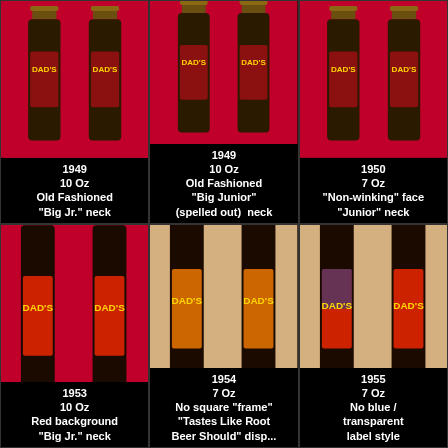[Figure (photo): 1949 Dad's Root Beer bottles - 10 Oz Old Fashioned 'Big Jr.' neck]
1949
10 Oz
Old Fashioned
"Big Jr." neck
[Figure (photo): 1949 Dad's Root Beer bottles - 10 Oz Old Fashioned 'Big Junior' (spelled out) neck]
1949
10 Oz
Old Fashioned
"Big Junior"
(spelled out) neck
[Figure (photo): 1950 Dad's Root Beer bottles - 7 Oz 'Non-winking' face 'Junior' neck]
1950
7 Oz
"Non-winking" face
"Junior" neck
[Figure (photo): 1953 Dad's Root Beer bottles - 10 Oz Red background 'Big Jr.' neck]
1953
10 Oz
Red background
"Big Jr." neck
[Figure (photo): 1954 Dad's Root Beer bottles - 7 Oz No square 'frame' 'Tastes Like Root Beer Should' display]
1954
7 Oz
No square "frame"
"Tastes Like Root
Beer Should" disp...
[Figure (photo): 1955 Dad's Root Beer bottles - 7 Oz No blue / transparent label style]
1955
7 Oz
No blue /
transparent
label style